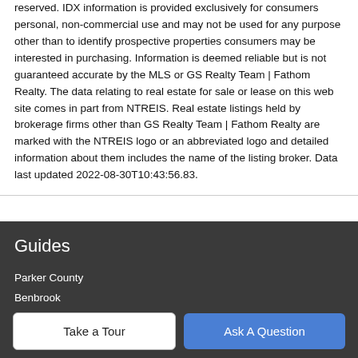reserved. IDX information is provided exclusively for consumers personal, non-commercial use and may not be used for any purpose other than to identify prospective properties consumers may be interested in purchasing. Information is deemed reliable but is not guaranteed accurate by the MLS or GS Realty Team | Fathom Realty. The data relating to real estate for sale or lease on this web site comes in part from NTREIS. Real estate listings held by brokerage firms other than GS Realty Team | Fathom Realty are marked with the NTREIS logo or an abbreviated logo and detailed information about them includes the name of the listing broker. Data last updated 2022-08-30T10:43:56.83.
Guides
Parker County
Benbrook
Granbury
Weatherford
Take a Tour
Ask A Question